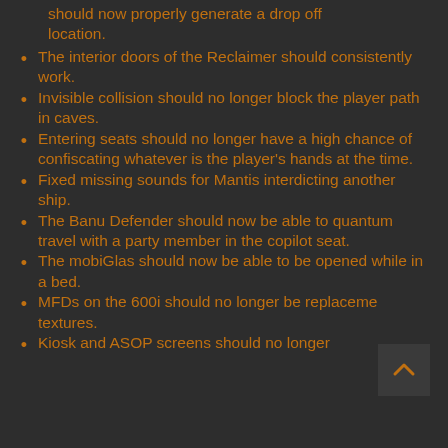should now properly generate a drop off location.
The interior doors of the Reclaimer should consistently work.
Invisible collision should no longer block the player path in caves.
Entering seats should no longer have a high chance of confiscating whatever is the player's hands at the time.
Fixed missing sounds for Mantis interdicting another ship.
The Banu Defender should now be able to quantum travel with a party member in the copilot seat.
The mobiGlas should now be able to be opened while in a bed.
MFDs on the 600i should no longer be replaceme textures.
Kiosk and ASOP screens should no longer